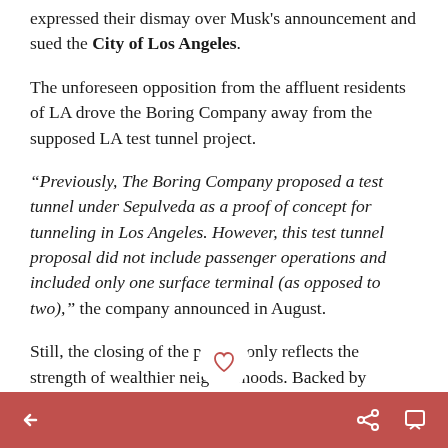expressed their dismay over Musk's announcement and sued the City of Los Angeles.
The unforeseen opposition from the affluent residents of LA drove the Boring Company away from the supposed LA test tunnel project.
“Previously, The Boring Company proposed a test tunnel under Sepulveda as a proof of concept for tunneling in Los Angeles. However, this test tunnel proposal did not include passenger operations and included only one surface terminal (as opposed to two),” the company announced in August.
Still, the closing of the project only reflects the strength of wealthier neighborhoods. Backed by enough connections and resources, these areas can often stop innovation fr anging their
< share comment